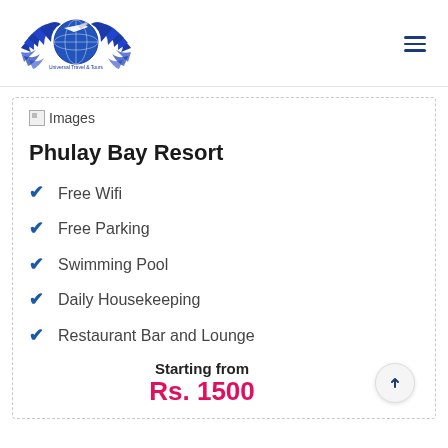[Figure (logo): Universal Travel & Tours logo with globe and wings, blue color scheme]
[Figure (illustration): Broken image placeholder icon labeled 'Images']
Phulay Bay Resort
Free Wifi
Free Parking
Swimming Pool
Daily Housekeeping
Restaurant Bar and Lounge
Starting from Rs. 1500